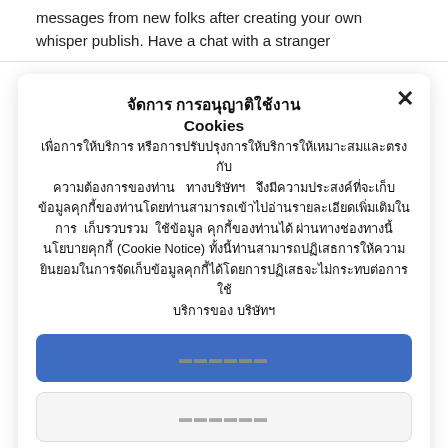messages from new folks after creating your own whisper publish. Have a chat with a stranger
จัดการ การอนุญาติใช้งาน Cookies
เพื่อการให้บริการ หรือการปรับปรุงการให้บริการให้เหมาะสมและตรงกับความต้องการของท่าน ทางบริษัทฯ จึงมีความประสงค์ที่จะเก็บข้อมูลคุกกี้ของท่านโดยท่านสามารถเข้าไปอ่านรายละเอียดเพิ่มเติมในการ เก็บรวบรวม ใช้ข้อมูล คุกกี้ของท่านได้ ผ่านทางช่องทางนี้นโยบายคุกกี้ (Cookie Notice) ทั้งนี้ท่านสามารถปฏิเสธการให้ความยินยอมในการจัดเก็บข้อมูลคุกกี้ได้โดยการปฏิเสธจะไม่กระทบต่อการใช้บริการของ บริษัทฯ
ยอมรับ (button)
ปฏิเสธ (button)
จัดการคุกกี้ (button)
นโยบายการใช้คุกกี้ของบริษัท   นโยบายการคุ้มครองข้อมูลส่วนบุคคล